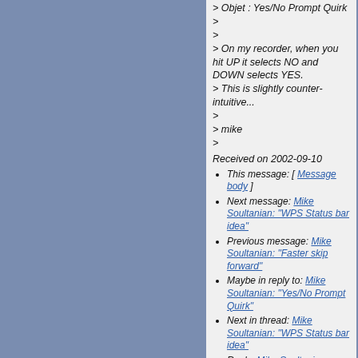> Objet : Yes/No Prompt Quirk
>
>
> On my recorder, when you hit UP it selects NO and DOWN selects YES.
> This is slightly counter-intuitive...
>
> mike
>
Received on 2002-09-10
This message: [ Message body ]
Next message: Mike Soultanian: "WPS Status bar idea"
Previous message: Mike Soultanian: "Faster skip forward"
Maybe in reply to: Mike Soultanian: "Yes/No Prompt Quirk"
Next in thread: Mike Soultanian: "WPS Status bar idea"
Reply: Mike Soultanian: "WPS Status bar idea"
Contemporary messages sorted: [ by date ] [ by thread ] [ by subject ] [ by author ] [ by messages with attachments ]
Page template was last modified "Tue Sep 7 00:00:02 2021" The Rockbox Crew -- Privacy Policy